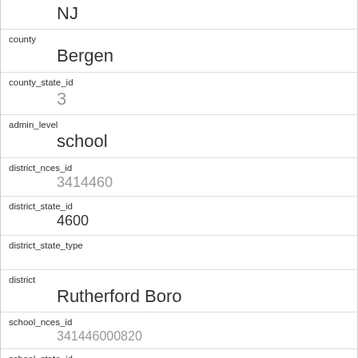| field | value |
| --- | --- |
|  | NJ |
| county | Bergen |
| county_state_id | 3 |
| admin_level | school |
| district_nces_id | 3414460 |
| district_state_id | 4600 |
| district_state_type |  |
| district | Rutherford Boro |
| school_nces_id | 341446000820 |
| school_state_id | 110 |
| school | Washington School |